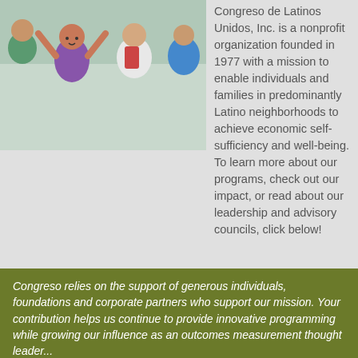[Figure (photo): Photo of smiling children, including a young girl in a purple Belle shirt with arms raised, and another child, in a school or community setting.]
Congreso de Latinos Unidos, Inc. is a nonprofit organization founded in 1977 with a mission to enable individuals and families in predominantly Latino neighborhoods to achieve economic self-sufficiency and well-being. To learn more about our programs, check out our impact, or read about our leadership and advisory councils, click below!
Explore Congreso.net
Congreso relies on the support of generous individuals, foundations and corporate partners who support our mission. Your contribution helps us continue to provide innovative programming while growing our influence as an outcomes measurement thought leader...